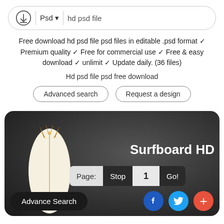[Figure (screenshot): Search bar with download icon, Psd dropdown, and 'hd psd file' text input]
Free download hd psd file psd files in editable .psd format ✓ Premium quality ✓ Free for commercial use ✓ Free & easy download ✓ unlimit ✓ Update daily. (36 files)
Hd psd file psd free download
Advanced search
Request a design
[Figure (screenshot): Dark card showing surfboard HD PSD file with page navigation bar showing Page: Stop 1 Go!, Advance Search button, and social media icons (Facebook, Twitter, Plus)]